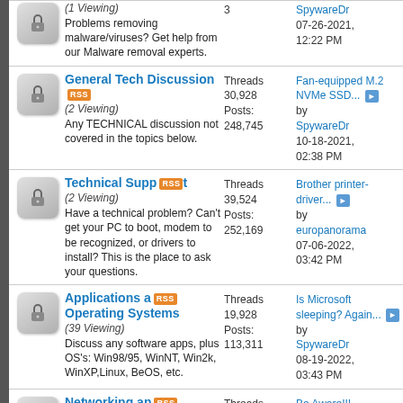(1 Viewing) Problems removing malware/viruses? Get help from our Malware removal experts. Posts: 3 | Last post: SpywareDr, 07-26-2021, 12:22 PM
General Tech Discussion (2 Viewing) Any TECHNICAL discussion not covered in the topics below. Threads: 30,928 Posts: 248,745 | Last post: Fan-equipped M.2 NVMe SSD... by SpywareDr, 10-18-2021, 02:38 PM
Technical Support (2 Viewing) Have a technical problem? Can't get your PC to boot, modem to be recognized, or drivers to install? This is the place to ask your questions. Threads: 39,524 Posts: 252,169 | Last post: Brother printer-driver... by europanorama, 07-06-2022, 03:42 PM
Applications and Operating Systems (39 Viewing) Discuss any software apps, plus OS's: Win98/95, WinNT, Win2k, WinXP,Linux, BeOS, etc. Threads: 19,928 Posts: 113,311 | Last post: Is Microsoft sleeping? Again... by SpywareDr, 08-19-2022, 03:43 PM
Networking and Internet Threads: 11,294 | Last post: Be Aware!!! OperaVPN